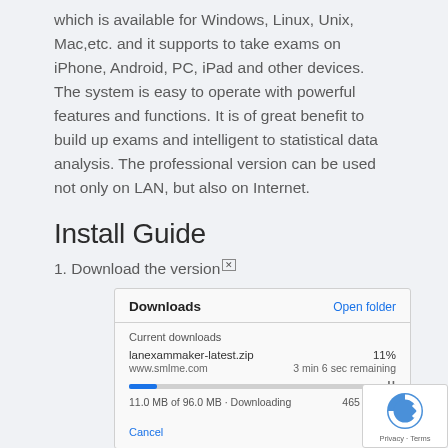which is available for Windows, Linux, Unix, Mac,etc. and it supports to take exams on iPhone, Android, PC, iPad and other devices. The system is easy to operate with powerful features and functions. It is of great benefit to build up exams and intelligent to statistical data analysis. The professional version can be used not only on LAN, but also on Internet.
Install Guide
1. Download the version [x]
[Figure (screenshot): Chrome browser Downloads panel showing lanexammaker-latest.zip downloading at 11%, 11.0 MB of 96.0 MB, 465 KB/sec, 3 min 6 sec remaining, with Cancel link and Open folder link.]